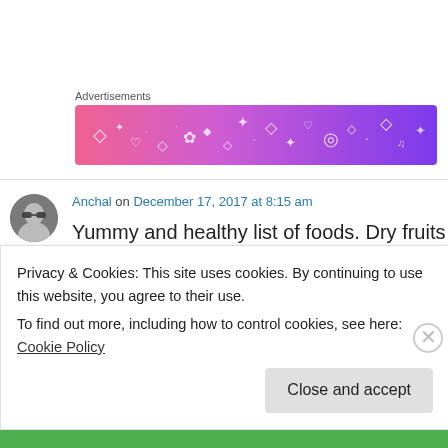Advertisements
[Figure (illustration): Colorful advertisement banner with gradient pink to purple background and white decorative icons/doodles]
Anchal on December 17, 2017 at 8:15 am
Yummy and healthy list of foods. Dry fruits being my favourites,
Liked by 1 person
Privacy & Cookies: This site uses cookies. By continuing to use this website, you agree to their use.
To find out more, including how to control cookies, see here: Cookie Policy
Close and accept